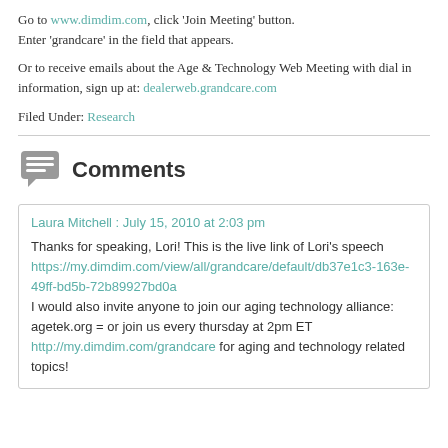Go to www.dimdim.com, click 'Join Meeting' button.
Enter 'grandcare' in the field that appears.
Or to receive emails about the Age & Technology Web Meeting with dial in information, sign up at: dealerweb.grandcare.com
Filed Under: Research
Comments
Laura Mitchell : July 15, 2010 at 2:03 pm
Thanks for speaking, Lori! This is the live link of Lori's speech https://my.dimdim.com/view/all/grandcare/default/db37e1c3-163e-49ff-bd5b-72b89927bd0a
I would also invite anyone to join our aging technology alliance: agetek.org = or join us every thursday at 2pm ET http://my.dimdim.com/grandcare for aging and technology related topics!